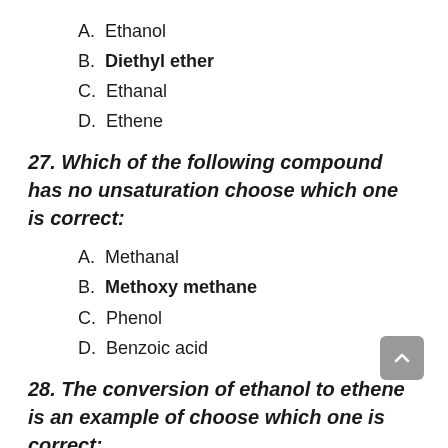A.  Ethanol
B.  Diethyl ether
C.  Ethanal
D.  Ethene
27. Which of the following compound has no unsaturation choose which one is correct:
A.  Methanal
B.  Methoxy methane
C.  Phenol
D.  Benzoic acid
28. The conversion of ethanol to ethene is an example of choose which one is correct: